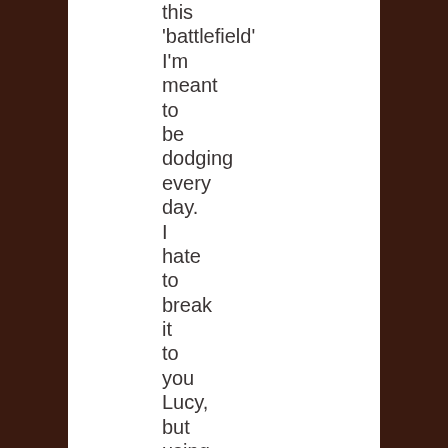this
'battlefield'
I'm
meant
to
be
dodging
every
day.
I
hate
to
break
it
to
you
Lucy,
but
using
hunting
references
and